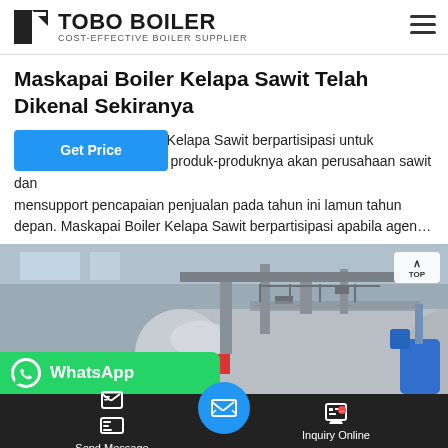TOBO BOILER — COST-EFFECTIVE BOILER SUPPLIER
Maskapai Boiler Kelapa Sawit Telah Dikenal Sekiranya
Boiler Kelapa Sawit berpartisipasi untuk memasarkan produk-produknya akan perusahaan sawit dan mensupport pencapaian penjualan pada tahun ini lamun tahun depan. Maskapai Boiler Kelapa Sawit berpartisipasi apabila agen...
[Figure (photo): Industrial boiler equipment in a factory setting, showing large cylindrical boiler units with pipes and fittings]
Send Message | Inquiry Online